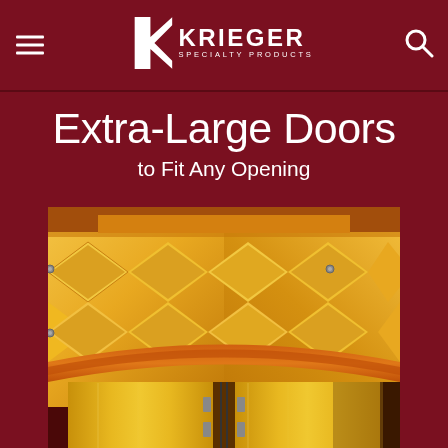Krieger Specialty Products - Extra-Large Doors
Extra-Large Doors
to Fit Any Opening
[Figure (photo): Large yellow extra-large doors with diamond-pattern raised panels, orange trim detail along the top arch, and reflective metal door frames below, photographed from below looking up]